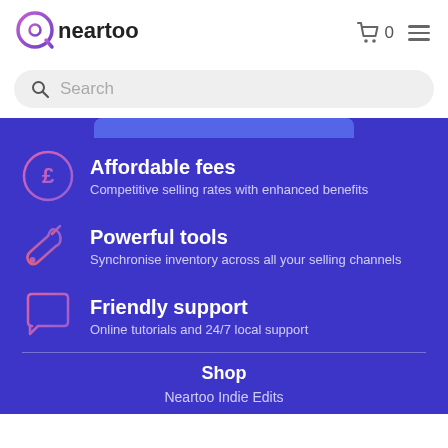[Figure (logo): Neartoo logo with stylized 'a' icon in purple/pink gradient and 'neartoo' text in dark color]
[Figure (screenshot): Cart icon with '0' and hamburger menu icon in header]
Search
Affordable fees — Competitive selling rates with enhanced benefits
Powerful tools — Synchronise inventory across all your selling channels
Friendly support — Online tutorials and 24/7 local support
Shop
Neartoo Indie Edits